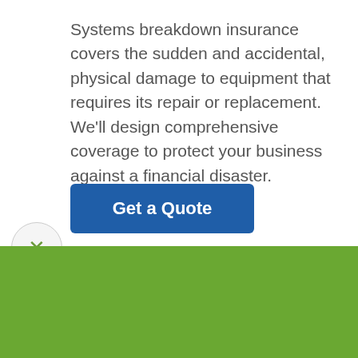Systems breakdown insurance covers the sudden and accidental, physical damage to equipment that requires its repair or replacement. We'll design comprehensive coverage to protect your business against a financial disaster.
Get a Quote
ervice-oriented insurance to ensure you're pro
Get a Quote
24/7 Client Center